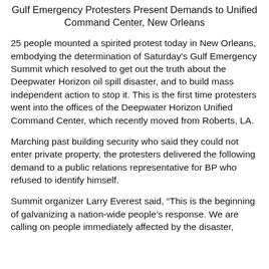Gulf Emergency Protesters Present Demands to Unified Command Center, New Orleans
25 people mounted a spirited protest today in New Orleans, embodying the determination of Saturday's Gulf Emergency Summit which resolved to get out the truth about the Deepwater Horizon oil spill disaster, and to build mass independent action to stop it. This is the first time protesters went into the offices of the Deepwater Horizon Unified Command Center, which recently moved from Roberts, LA.
Marching past building security who said they could not enter private property, the protesters delivered the following demand to a public relations representative for BP who refused to identify himself.
Summit organizer Larry Everest said, “This is the beginning of galvanizing a nation-wide people’s response. We are calling on people immediately affected by the disaster,